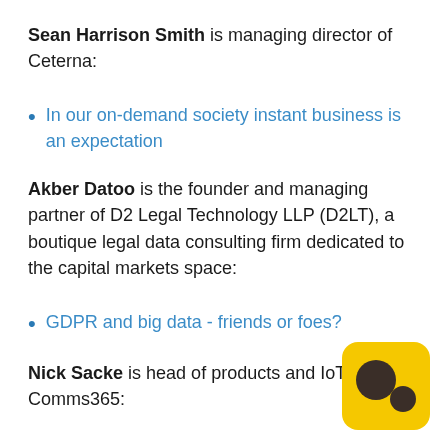Sean Harrison Smith is managing director of Ceterna:
In our on-demand society instant business is an expectation
Akber Datoo is the founder and managing partner of D2 Legal Technology LLP (D2LT), a boutique legal data consulting firm dedicated to the capital markets space:
GDPR and big data - friends or foes?
Nick Sacke is head of products and IoT at Comms365:
[Figure (logo): Yellow rounded square logo with two dark brown overlapping circles]